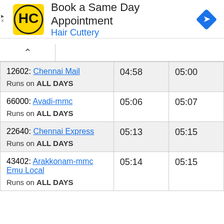[Figure (screenshot): Hair Cuttery advertisement banner: HC logo (black H and C on yellow square), text 'Book a Same Day Appointment' and 'Hair Cuttery' in blue, blue diamond arrow icon on right]
| Train | Arrival | Departure |
| --- | --- | --- |
| 12602: Chennai Mail
Runs on ALL DAYS | 04:58 | 05:00 |
| 66000: Avadi-mmc
Runs on ALL DAYS | 05:06 | 05:07 |
| 22640: Chennai Express
Runs on ALL DAYS | 05:13 | 05:15 |
| 43402: Arakkonam-mmc Emu Local
Runs on ALL DAYS | 05:14 | 05:15 |